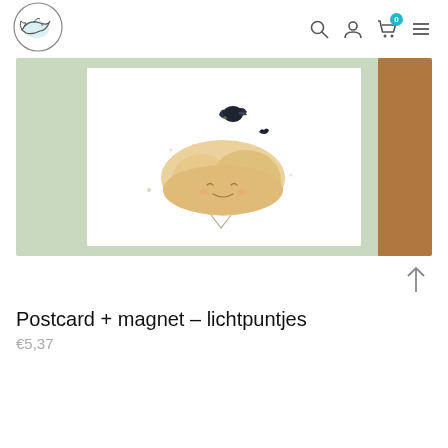[Figure (logo): Whale logo inside a circle — line drawing of a whale with light blue fill, circular border]
[Figure (screenshot): E-commerce product page screenshot showing a postcard with illustration of a fluffy cloud character with a small bird on top, against a sage green background, with a brown kraft envelope strip on the right]
Postcard + magnet – lichtpuntjes
€5,37